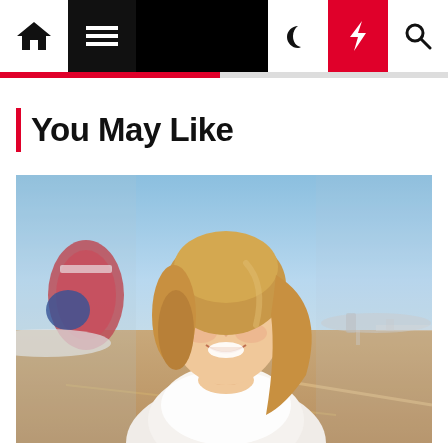Navigation bar with home, menu, moon, lightning, search icons
You May Like
[Figure (photo): A smiling young woman with blonde hair wearing a white lace top, standing on an airport tarmac with aircraft including one with British Airways livery visible in the background under a blue sky.]